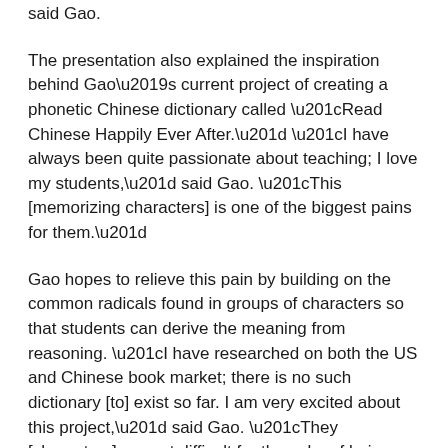said Gao.
The presentation also explained the inspiration behind Gao's current project of creating a phonetic Chinese dictionary called “Read Chinese Happily Ever After.” “I have always been quite passionate about teaching; I love my students,” said Gao. “This [memorizing characters] is one of the biggest pains for them.”
Gao hopes to relieve this pain by building on the common radicals found in groups of characters so that students can derive the meaning from reasoning. “I have researched on both the US and Chinese book market; there is no such dictionary [to] exist so far. I am very excited about this project,” said Gao. “They [characters] are not difficult for the sake of being difficult.”
“Chinese character recognition and memorization do demand